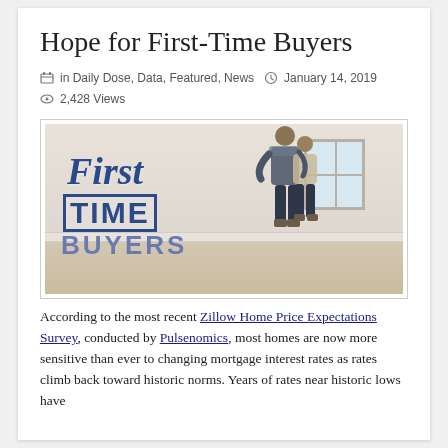Hope for First-Time Buyers
in Daily Dose, Data, Featured, News  January 14, 2019  2,428 Views
[Figure (photo): Photo of a couple standing in an empty room with text overlay reading 'First TIME BUYERS' in blue lettering]
According to the most recent Zillow Home Price Expectations Survey, conducted by Pulsenomics, most homes are now more sensitive than ever to changing mortgage interest rates as rates climb back toward historic norms. Years of rates near historic lows have